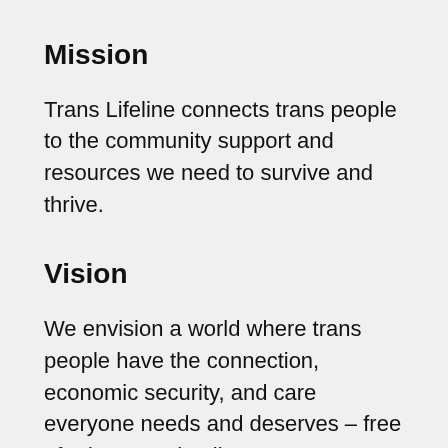Mission
Trans Lifeline connects trans people to the community support and resources we need to survive and thrive.
Vision
We envision a world where trans people have the connection, economic security, and care everyone needs and deserves – free of prisons and police.